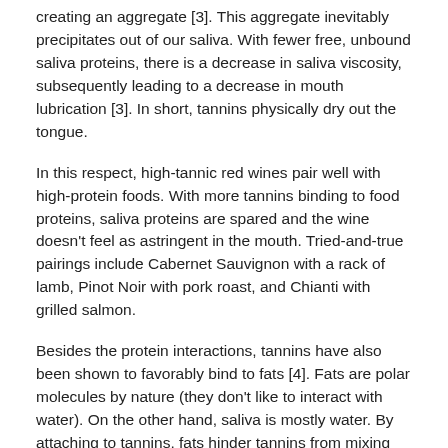creating an aggregate [3]. This aggregate inevitably precipitates out of our saliva. With fewer free, unbound saliva proteins, there is a decrease in saliva viscosity, subsequently leading to a decrease in mouth lubrication [3]. In short, tannins physically dry out the tongue.
In this respect, high-tannic red wines pair well with high-protein foods. With more tannins binding to food proteins, saliva proteins are spared and the wine doesn't feel as astringent in the mouth. Tried-and-true pairings include Cabernet Sauvignon with a rack of lamb, Pinot Noir with pork roast, and Chianti with grilled salmon.
Besides the protein interactions, tannins have also been shown to favorably bind to fats [4]. Fats are polar molecules by nature (they don't like to interact with water). On the other hand, saliva is mostly water. By attaching to tannins, fats hinder tannins from mixing with saliva and binding to proteins. Essentially, fats wash the tannins away. For this reason, wine paired with cheese is a great treat, as is a gourmet burger with a glass of Zinfandel.
Armed with this knowledge, why not begin your own wine and